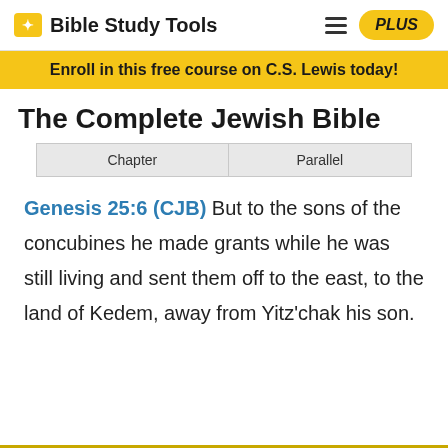Bible Study Tools | PLUS
Enroll in this free course on C.S. Lewis today!
The Complete Jewish Bible
| Chapter | Parallel |
| --- | --- |
Genesis 25:6 (CJB) But to the sons of the concubines he made grants while he was still living and sent them off to the east, to the land of Kedem, away from Yitz'chak his son.